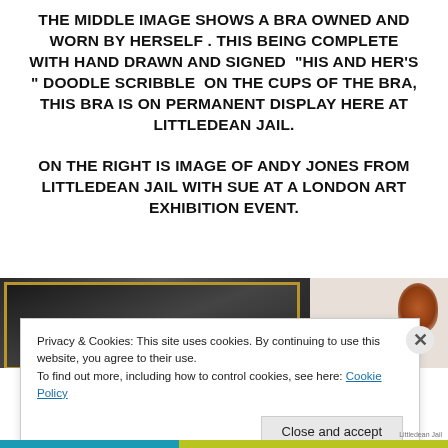THE MIDDLE IMAGE SHOWS A BRA OWNED AND WORN BY HERSELF . THIS BEING COMPLETE WITH HAND DRAWN AND SIGNED “HIS AND HER’S ” DOODLE SCRIBBLE ON THE CUPS OF THE BRA, THIS BRA IS ON PERMANENT DISPLAY HERE AT LITTLEDEAN JAIL.
ON THE RIGHT IS IMAGE OF ANDY JONES FROM LITTLEDEAN JAIL WITH SUE AT A LONDON ART EXHIBITION EVENT.
[Figure (photo): Partial photo strip showing two images side by side: left image appears dark with a gold-framed picture, right image shows a person with red/auburn hair against a light background.]
Privacy & Cookies: This site uses cookies. By continuing to use this website, you agree to their use.
To find out more, including how to control cookies, see here: Cookie Policy
Close and accept